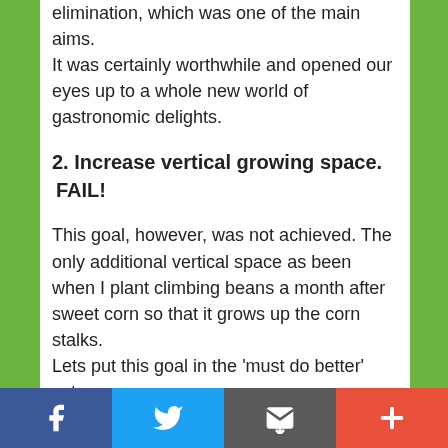elimination, which was one of the main aims. It was certainly worthwhile and opened our eyes up to a whole new world of gastronomic delights.
2. Increase vertical growing space. FAIL!
This goal, however, was not achieved. The only additional vertical space as been when I plant climbing beans a month after sweet corn so that it grows up the corn stalks. Lets put this goal in the ‘must do better’ category.
[Figure (other): Social sharing bar with Facebook, Twitter, email/share, and plus buttons]